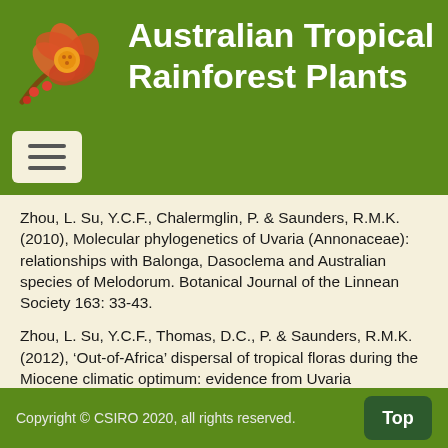Australian Tropical Rainforest Plants
Zhou, L. Su, Y.C.F., Chalermglin, P. & Saunders, R.M.K. (2010), Molecular phylogenetics of Uvaria (Annonaceae): relationships with Balonga, Dasoclema and Australian species of Melodorum. Botanical Journal of the Linnean Society 163: 33-43.
Zhou, L. Su, Y.C.F., Thomas, D.C., P. & Saunders, R.M.K. (2012), ‘Out-of-Africa’ dispersal of tropical floras during the Miocene climatic optimum: evidence from Uvaria (Annonaceae). Journal of Biogeography 39: 322–335.
Copyright © CSIRO 2020, all rights reserved.